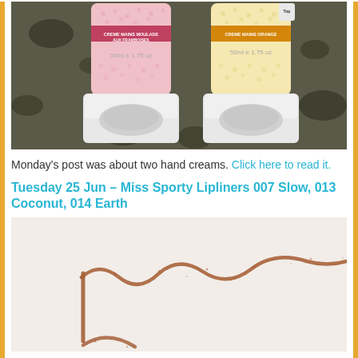[Figure (photo): Two white squeeze tubes of hand cream side by side on a dark floral background. Left tube has pink polka-dot label reading 'CREME MAINS MOULADE AUX FRAMBOISES 50ml e 1.75 oz'. Right tube has yellow/cream dotted label reading 'CREME MAINS ORANGE 50ml e 1.75 oz'.]
Monday's post was about two hand creams. Click here to read it.
Tuesday 25 Jun – Miss Sporty Lipliners 007 Slow, 013 Coconut, 014 Earth
[Figure (photo): Close-up swatch of a brown/terracotta lipliner pencil drawn in a wavy line across a white surface, showing the pigment trail of the pencil.]